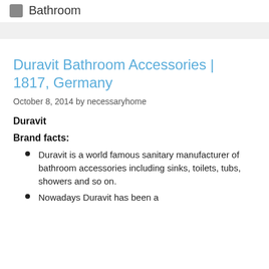Bathroom
Duravit Bathroom Accessories | 1817, Germany
October 8, 2014 by necessaryhome
Duravit
Brand facts:
Duravit is a world famous sanitary manufacturer of bathroom accessories including sinks, toilets, tubs, showers and so on.
Nowadays Duravit has been a